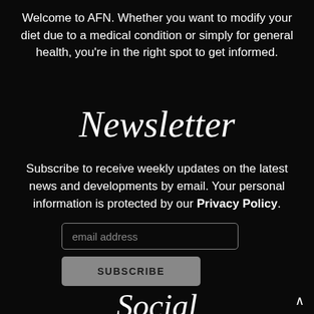Welcome to AFN. Whether you want to modify your diet due to a medical condition or simply for general health, you're in the right spot to get informed.
Newsletter
Subscribe to receive weekly updates on the latest news and developments by email. Your personal information is protected by our Privacy Policy.
email address
SUBSCRIBE
Social